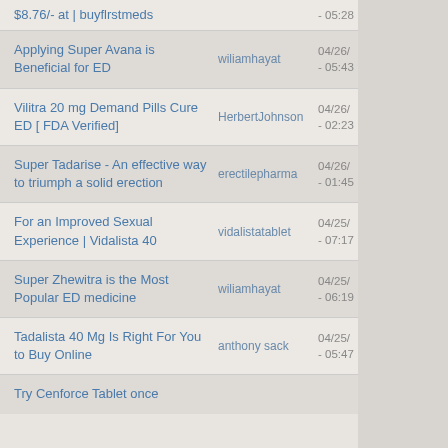| Title | User | Date |
| --- | --- | --- |
| $8.76/- at | buyflrstmeds |  | - 05:28 |
| Applying Super Avana is Beneficial for ED | wiliamhayat | 04/26/... - 05:43 |
| Vilitra 20 mg Demand Pills Cure ED [ FDA Verified] | HerbertJohnson | 04/26/... - 02:23 |
| Super Tadarise - An effective way to triumph a solid erection | erectilepharma | 04/26/... - 01:45 |
| For an Improved Sexual Experience | Vidalista 40 | vidalistatablet | 04/25/... - 07:17 |
| Super Zhewitra is the Most Popular ED medicine | wiliamhayat | 04/25/... - 06:19 |
| Tadalista 40 Mg Is Right For You to Buy Online | anthony sack | 04/25/... - 05:47 |
| Try Cenforce Tablet once |  |  |